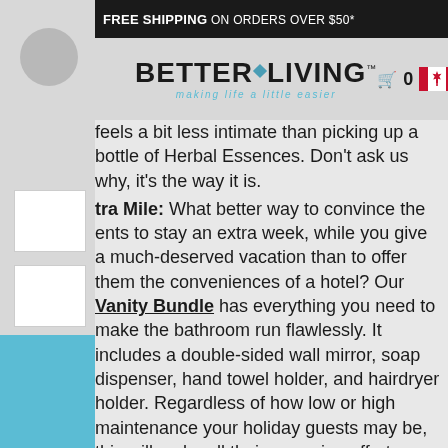FREE SHIPPING ON ORDERS OVER $50*
[Figure (logo): Better Living logo with diamond icon and tagline 'making life a little easier', cart icon showing 0, Canadian flag]
feels a bit less intimate than picking up a bottle of Herbal Essences. Don't ask us why, the way it is.
tra Mile: What better way to convince the ents to stay an extra week, while you give much-deserved vacation than to offer them nveniences of a hotel? Our Vanity Bundle erything you need to make the bathroom flawlessly. It includes a double-sided wall irror, soap dispenser, hand towel holder, and airdryer holder. Regardless of how low or high nce your holiday guests may be, this will make all their grooming efforts a breeze.